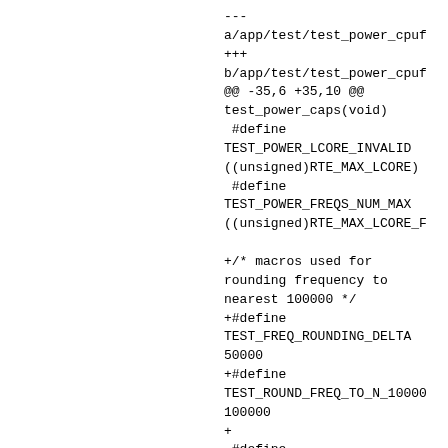---
a/app/test/test_power_cpuf
+++
b/app/test/test_power_cpuf
@@ -35,6 +35,10 @@
test_power_caps(void)
 #define
TEST_POWER_LCORE_INVALID
((unsigned)RTE_MAX_LCORE)
 #define
TEST_POWER_FREQS_NUM_MAX
((unsigned)RTE_MAX_LCORE_F

+/* macros used for
rounding frequency to
nearest 100000 */
+#define
TEST_FREQ_ROUNDING_DELTA
50000
+#define
TEST_ROUND_FREQ_TO_N_10000
100000
+
 #define
TEST_POWER_SYSFILE_CUR_FRE
\

"/sys/devices/system/cpu/c

@@ -67,7 +71,17 @@